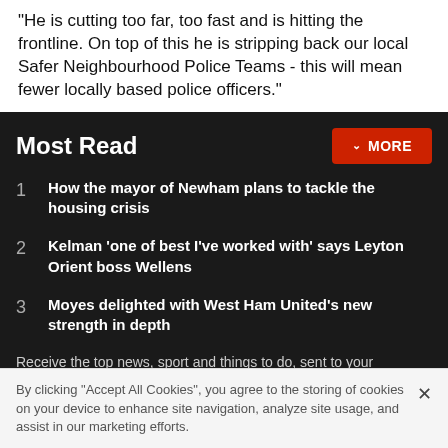“He is cutting too far, too fast and is hitting the frontline. On top of this he is stripping back our local Safer Neighbourhood Police Teams - this will mean fewer locally based police officers.”
Most Read
1 How the mayor of Newham plans to tackle the housing crisis
2 Kelman ‘one of best I’ve worked with’ says Leyton Orient boss Wellens
3 Moyes delighted with West Ham United’s new strength in depth
Receive the top news, sport and things to do, sent to your
By clicking “Accept All Cookies”, you agree to the storing of cookies on your device to enhance site navigation, analyze site usage, and assist in our marketing efforts.